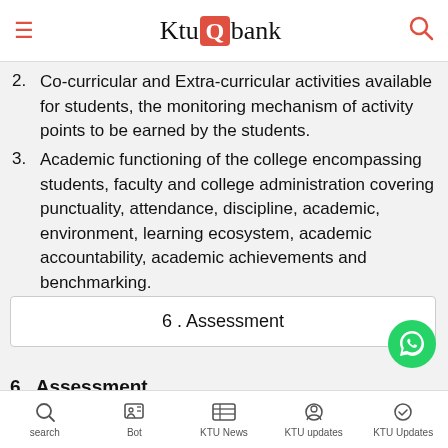KtuQbank
2. Co-curricular and Extra-curricular activities available for students, the monitoring mechanism of activity points to be earned by the students.
3. Academic functioning of the college encompassing students, faculty and college administration covering punctuality, attendance, discipline, academic, environment, learning ecosystem, academic accountability, academic achievements and benchmarking.
6 . Assessment
6 . Assessment
search  Bot  KTU News  KTU updates  KTU Updates